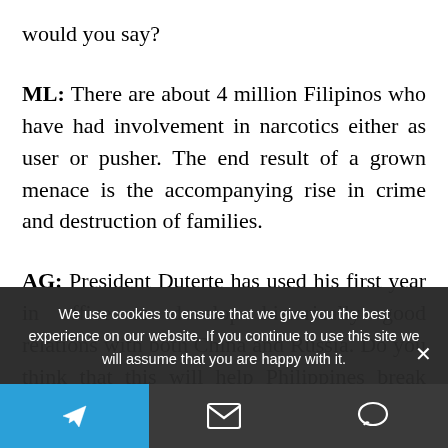would you say?
ML: There are about 4 million Filipinos who have had involvement in narcotics either as user or pusher. The end result of a grown menace is the accompanying rise in crime and destruction of families.
AG: President Duterte has used his first year in office to develop historically good relations with both China and Russia. Do you think that this will help Philippines break away from the post-
We use cookies to ensure that we give you the best experience on our website. If you continue to use this site we will assume that you are happy with it.